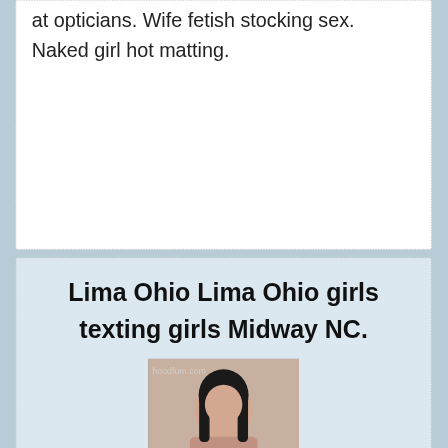at opticians. Wife fetish stocking sex. Naked girl hot matting.
Lima Ohio Lima Ohio girls texting girls Midway NC.
[Figure (photo): Photo of a woman with watermark text 'hoodfum.com' and 'personal ads' overlaid]